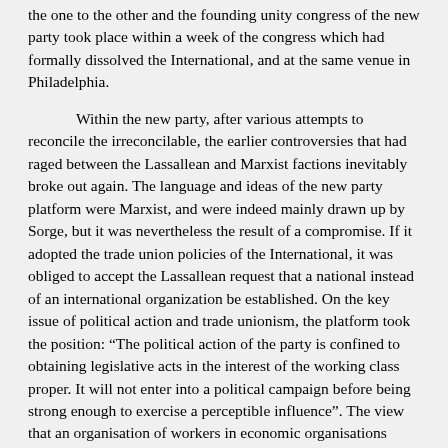the one to the other and the founding unity congress of the new party took place within a week of the congress which had formally dissolved the International, and at the same venue in Philadelphia.
Within the new party, after various attempts to reconcile the irreconcilable, the earlier controversies that had raged between the Lassallean and Marxist factions inevitably broke out again. The language and ideas of the new party platform were Marxist, and were indeed mainly drawn up by Sorge, but it was nevertheless the result of a compromise. If it adopted the trade union policies of the International, it was obliged to accept the Lassallean request that a national instead of an international organization be established. On the key issue of political action and trade unionism, the platform took the position: “The political action of the party is confined to obtaining legislative acts in the interest of the working class proper. It will not enter into a political campaign before being strong enough to exercise a perceptible influence”. The view that an organisation of workers in economic organisations needed to be in place before an effective battle could be mounted in the political sphere was supported by the old members of the International (Sorge, McDonnell, Otto Weydemeyer, and Speyer).
The national executive committee, eventually to be located in Chicago and dominated by the Lassalleans, opposed this line